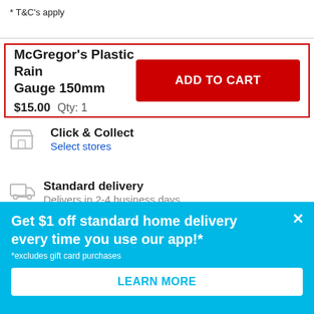* T&C's apply
McGregor's Plastic Rain Gauge 150mm
$15.00   Qty: 1
ADD TO CART
Click & Collect
Select stores
Standard delivery
Delivers in 2-4 business days
Get $1 off standard home delivery every time you use our app!*
*excludes gift card purchases
LEARN MORE